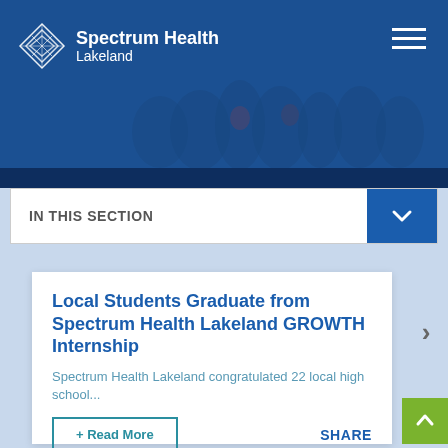[Figure (photo): Spectrum Health Lakeland website header with group of people in background, logo top left, hamburger menu top right]
IN THIS SECTION
Local Students Graduate from Spectrum Health Lakeland GROWTH Internship
Spectrum Health Lakeland congratulated 22 local high school...
+ Read More
SHARE